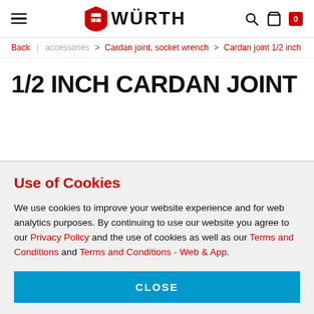Würth
Back | accessories > Cardan joint, socket wrench > Cardan joint 1/2 inch
1/2 INCH CARDAN JOINT
Use of Cookies
We use cookies to improve your website experience and for web analytics purposes. By continuing to use our website you agree to our Privacy Policy and the use of cookies as well as our Terms and Conditions and Terms and Conditions - Web & App.
CLOSE